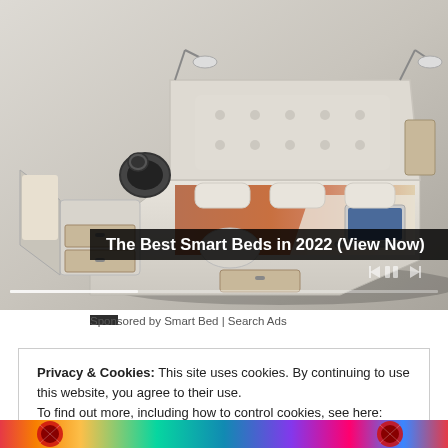[Figure (photo): Advertisement image showing a smart bed with multiple features including storage drawers, speakers, reading lights, massage chair attachment, and laptop. A video player progress bar and controls are visible at the bottom of the image.]
The Best Smart Beds in 2022 (View Now)
Sponsored by Smart Bed | Search Ads
Privacy & Cookies: This site uses cookies. By continuing to use this website, you agree to their use.
To find out more, including how to control cookies, see here: Cookie Policy
Close and accept